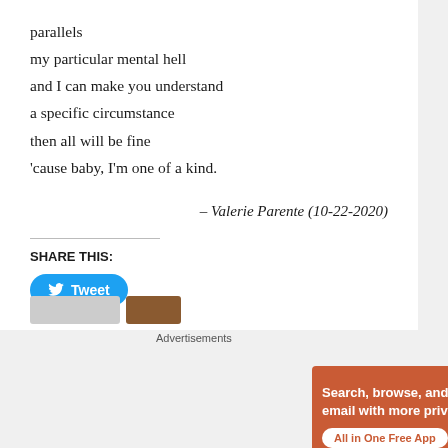parallels
my particular mental hell
and I can make you understand
a specific circumstance
then all will be fine
'cause baby, I'm one of a kind.
– Valerie Parente (10-22-2020)
SHARE THIS:
[Figure (other): Twitter Tweet button (blue rounded rectangle with bird icon and 'Tweet' text)]
[Figure (other): DuckDuckGo advertisement banner with orange background showing 'Search, browse, and email with more privacy. All in One Free App' with DuckDuckGo logo on a phone graphic]